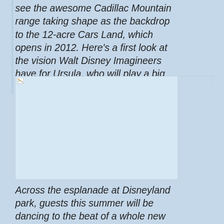see the awesome Cadillac Mountain range taking shape as the backdrop to the 12-acre Cars Land, which opens in 2012. Here's a first look at the vision Walt Disney Imagineers have for Ursula, who will play a big role in The Little Mermaid ~ Ariel's Undersea Adventure.
[Figure (photo): Broken/missing image placeholder with small document icon in top-left corner, light blue background]
Across the esplanade at Disneyland park, guests this summer will be dancing to the beat of a whole new parade and jetting off to new galaxies far, far away. May 27 Premiere: “Mickey's Soundsational Parade” officially steps off for...